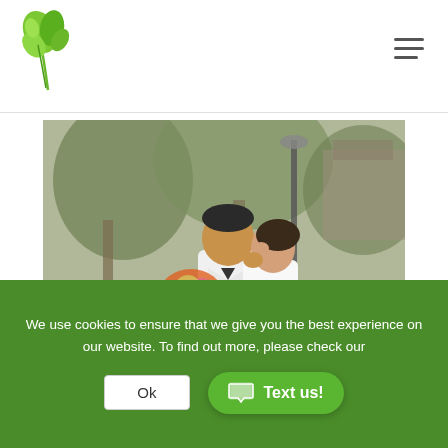[Figure (logo): Green floral/plant logo in top left of header]
[Figure (photo): Wedding couple photo: groom in white suit, bride in white dress kissing his cheek, holding colorful bouquet, in front of a vintage white Rolls Royce car, outdoor setting with trees]
We use cookies to ensure that we give you the best experience on our website. To find out more, please check our
Ok
Text us!